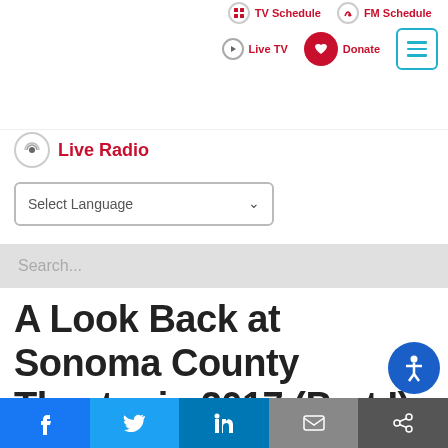[Figure (logo): Northern California Public Media logo — red border box, star, bold text, green bar with PUBLIC MEDIA]
TV Schedule  FM Schedule  Live TV  Donate  Menu
Live Radio
Select Language
Search...
A Look Back at Sonoma County Theatre in 2017 (Part I) – January 3, 2018
Social share buttons: Facebook, Twitter, LinkedIn, Email, Share